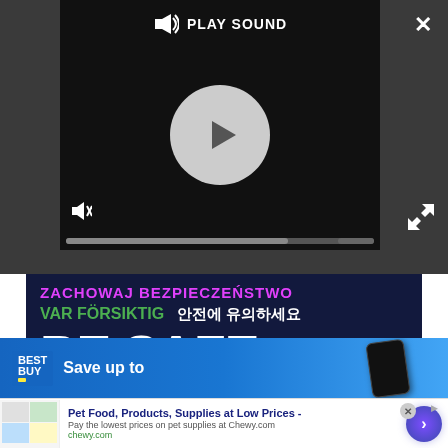[Figure (screenshot): Video player UI with dark background, play button circle, speaker/mute icon, PLAY SOUND label, fullscreen/close icons, and progress bar.]
[Figure (screenshot): Dark navy background with multilingual safety messaging. Text in magenta: ZACHOWAJ BEZPIECZENSTWO, green: VAR FORSIKTIG, white: 안전에 유의하세요, large white: BE SAFE, green: CHU Y AN TOAN, green: NA EISTE ASFALEIC, partial text at bottom.]
[Figure (screenshot): Best Buy advertisement banner with blue gradient background, Best Buy logo, 'Save up to' text, and image of folded Samsung phone.]
[Figure (screenshot): Chewy.com advertisement with product images, bold text 'Pet Food, Products, Supplies at Low Prices -', subtext 'Pay the lowest prices on pet supplies at Chewy.com', chewy.com link, and a circular arrow navigation button.]